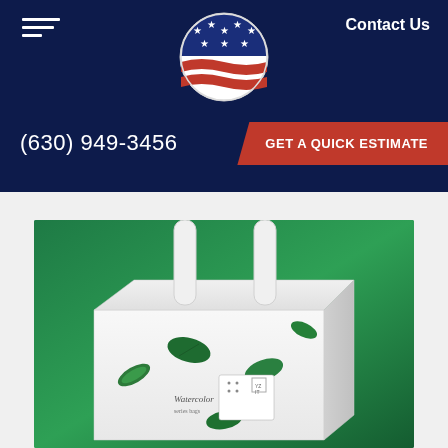Contact Us
(630) 949-3456
GET A QUICK ESTIMATE
[Figure (logo): Circular American flag logo with stars and red/white/blue wave design]
[Figure (photo): White gift/shopping box with green tropical leaf decorations and white ribbon handle, on a green background]